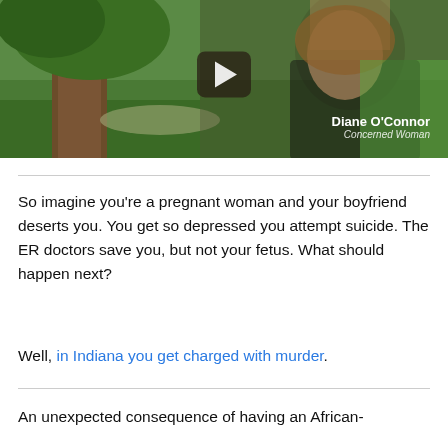[Figure (screenshot): Video thumbnail showing a woman with long blonde hair wearing a black top, standing near a tree in a park. A play button overlay is shown in the center. Text overlay in bottom right reads 'Diane O'Connor' and 'Concerned Woman'.]
So imagine you're a pregnant woman and your boyfriend deserts you. You get so depressed you attempt suicide. The ER doctors save you, but not your fetus. What should happen next?
Well, in Indiana you get charged with murder.
An unexpected consequence of having an African-